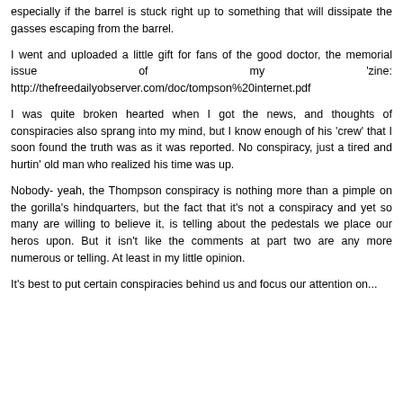especially if the barrel is stuck right up to something that will dissipate the gasses escaping from the barrel.
I went and uploaded a little gift for fans of the good doctor, the memorial issue of my 'zine: http://thefreedailyobserver.com/doc/tompson%20internet.pdf
I was quite broken hearted when I got the news, and thoughts of conspiracies also sprang into my mind, but I know enough of his 'crew' that I soon found the truth was as it was reported. No conspiracy, just a tired and hurtin' old man who realized his time was up.
Nobody- yeah, the Thompson conspiracy is nothing more than a pimple on the gorilla's hindquarters, but the fact that it's not a conspiracy and yet so many are willing to believe it, is telling about the pedestals we place our heros upon. But it isn't like the comments at part two are any more numerous or telling. At least in my little opinion.
It's best to put certain conspiracies behind us and focus our attention on...